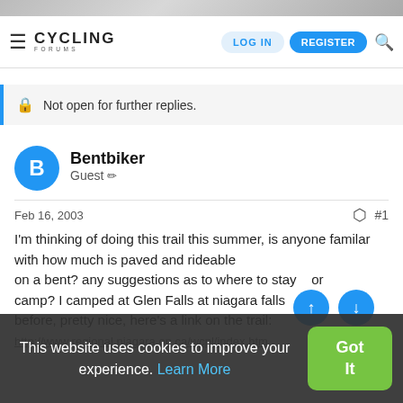[Figure (screenshot): Cycling Forums website header with logo, LOG IN and REGISTER buttons, and search icon]
Not open for further replies.
Bentbiker
Guest
Feb 16, 2003
#1
I'm thinking of doing this trail this summer, is anyone familar with how much is paved and rideable on a bent? any suggestions as to where to stay and or camp? I camped at Glen Falls at niagara falls before, pretty nice, here's a link on the trail: http://www.regional.niagara.on.ca/wcpl/index.htm
This website uses cookies to improve your experience. Learn More